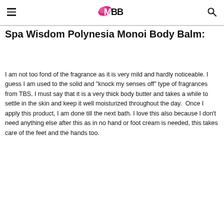IMBB logo with hamburger menu and search icon
Spa Wisdom Polynesia Monoi Body Balm:
I am not too fond of the fragrance as it is very mild and hardly noticeable. I guess I am used to the solid and "knock my senses off" type of fragrances from TBS. I must say that it is a very thick body butter and takes a while to settle in the skin and keep it well moisturized throughout the day.  Once I apply this product, I am done till the next bath. I love this also because I don't need anything else after this as in no hand or foot cream is needed, this takes care of the feet and the hands too.